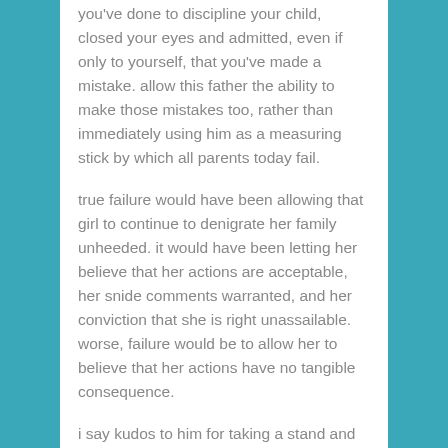you've done to discipline your child, closed your eyes and admitted, even if only to yourself, that you've made a mistake. allow this father the ability to make those mistakes too, rather than immediately using him as a measuring stick by which all parents today fail.
true failure would have been allowing that girl to continue to denigrate her family unheeded. it would have been letting her believe that her actions are acceptable, her snide comments warranted, and her conviction that she is right unassailable. worse, failure would be to allow her to believe that her actions have no tangible consequence.
i say kudos to him for taking a stand and doing what he felt was right, rather then doing what so many other parents are wont to do: turning a blind eye, or making another empty threat. and if he has learned, as he says he has, that his own actions carry repercussions, then the entire exercise has been an all-around success.